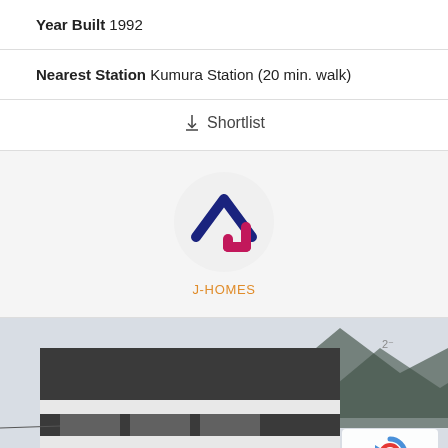Year Built 1992
Nearest Station Kumura Station (20 min. walk)
↓ Shortlist
[Figure (logo): J-HOMES real estate agency logo: a house outline made of blue and red/pink thick lines, on a light grey circular background. Below the logo, the text 'J-HOMES' in orange.]
[Figure (photo): Exterior photo of a multi-storey apartment building with dark grey/charcoal cladding, white horizontal bands, balconies, and air conditioning units. Mountains visible in the background, overcast sky.]